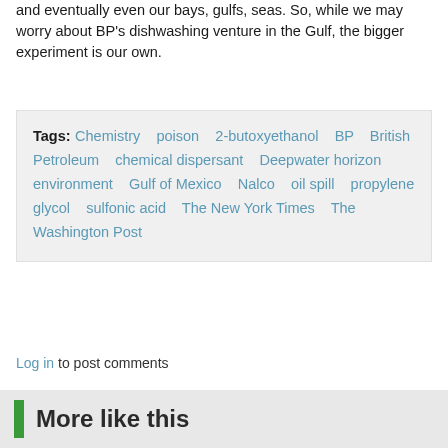and eventually even our bays, gulfs, seas. So, while we may worry about BP's dishwashing venture in the Gulf, the bigger experiment is our own.
Tags: Chemistry   poison   2-butoxyethanol   BP   British Petroleum   chemical dispersant   Deepwater horizon   environment   Gulf of Mexico   Nalco   oil spill   propylene glycol   sulfonic acid   The New York Times   The Washington Post
Log in to post comments
More like this